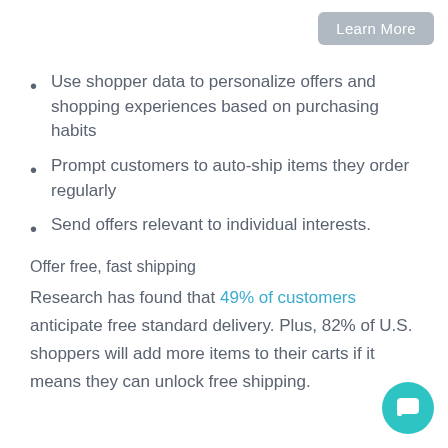Learn More
Use shopper data to personalize offers and shopping experiences based on purchasing habits
Prompt customers to auto-ship items they order regularly
Send offers relevant to individual interests.
Offer free, fast shipping
Research has found that 49% of customers anticipate free standard delivery. Plus, 82% of U.S. shoppers will add more items to their carts if it means they can unlock free shipping.